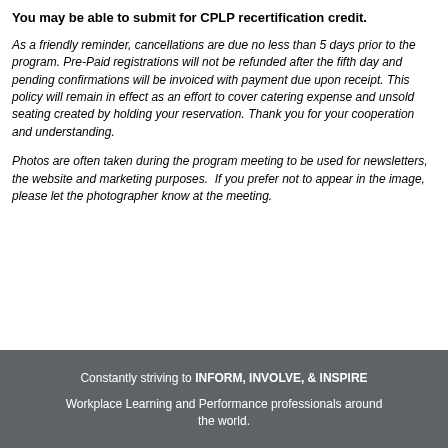You may be able to submit for CPLP recertification credit.
As a friendly reminder, cancellations are due no less than 5 days prior to the program. Pre-Paid registrations will not be refunded after the fifth day and pending confirmations will be invoiced with payment due upon receipt. This policy will remain in effect as an effort to cover catering expense and unsold seating created by holding your reservation. Thank you for your cooperation and understanding.
Photos are often taken during the program meeting to be used for newsletters, the website and marketing purposes. If you prefer not to appear in the image, please let the photographer know at the meeting.
Constantly striving to INFORM, INVOLVE, & INSPIRE Workplace Learning and Performance professionals around the world.